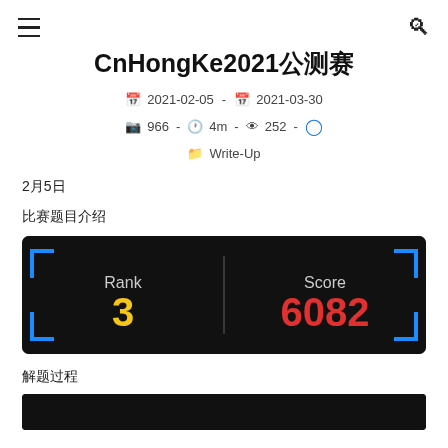☰  Q
CnHongKe2021公测赛
📅 2021-02-05 - 📅 2021-03-30
🖼 966 - 🕐 4m - 👁 252 - 💬
📁 Write-Up
2月5日
比赛题目介绍
[Figure (screenshot): Dark scoreboard showing Rank 3 in yellow and Score 6082 in red, with blue corner brackets on black background.]
解题过程